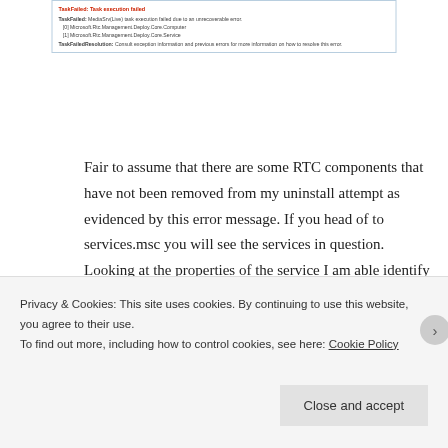[Figure (screenshot): Screenshot of an error dialog showing TaskFailed: Task execution failed, with TaskFailed error details including Microsoft.Rtc.Management.Deploy.Core.Computer and Microsoft.Rtc.Management.Deploy.Core.Service entries, and a TaskFailedResolution message.]
Fair to assume that there are some RTC components that have not been removed from my uninstall attempt as evidenced by this error message. If you head of to services.msc you will see the services in question. Looking at the properties of the service I am able identify that it is indeed RTCCAS in my case.
Privacy & Cookies: This site uses cookies. By continuing to use this website, you agree to their use.
To find out more, including how to control cookies, see here: Cookie Policy